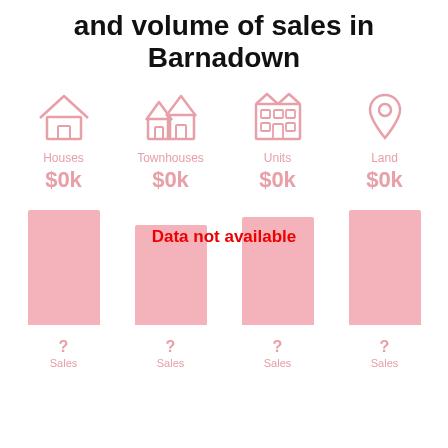and volume of sales in Barnadown
[Figure (infographic): Four property type icons (Houses, Townhouses, Units, Land) with pink outline SVG icons, each showing $0k median price below the label.]
[Figure (bar-chart): Four pink placeholder bars representing sales data for Houses, Townhouses, Units, and Land in Barnadown. Overlaid with 'Data not available' text in red. Each bar shows '?' and 'Sales' below.]